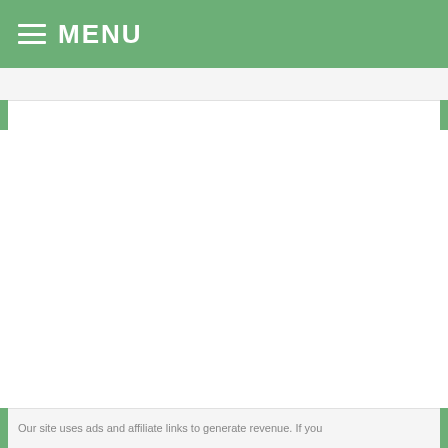≡ MENU
Our site uses ads and affiliate links to generate revenue. If you